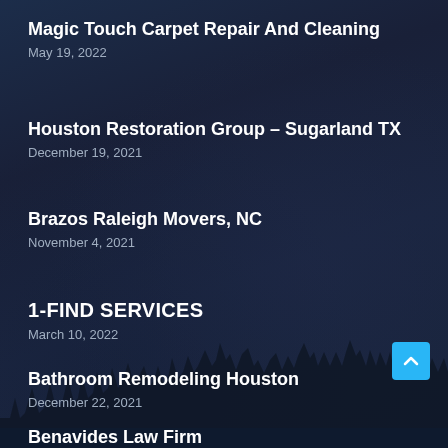Magic Touch Carpet Repair And Cleaning
May 19, 2022
Houston Restoration Group – Sugarland TX
December 19, 2021
Brazos Raleigh Movers, NC
November 4, 2021
1-FIND SERVICES
March 10, 2022
Bathroom Remodeling Houston
December 22, 2021
Benavides Law Firm